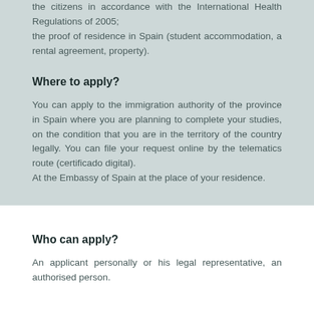the citizens in accordance with the International Health Regulations of 2005;
the proof of residence in Spain (student accommodation, a rental agreement, property).
Where to apply?
You can apply to the immigration authority of the province in Spain where you are planning to complete your studies, on the condition that you are in the territory of the country legally. You can file your request online by the telematics route (certificado digital).
At the Embassy of Spain at the place of your residence.
Who can apply?
An applicant personally or his legal representative, an authorised person.